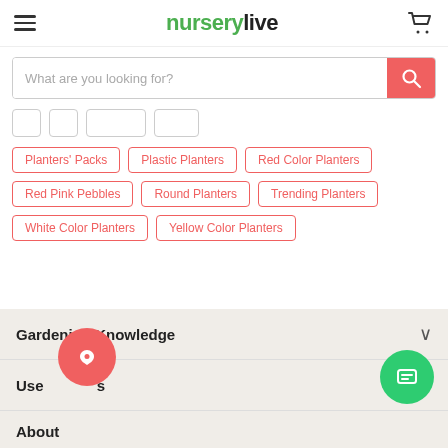nurserylive
What are you looking for?
Planters' Packs
Plastic Planters
Red Color Planters
Red Pink Pebbles
Round Planters
Trending Planters
White Color Planters
Yellow Color Planters
Gardening Knowledge
Useful Links
About